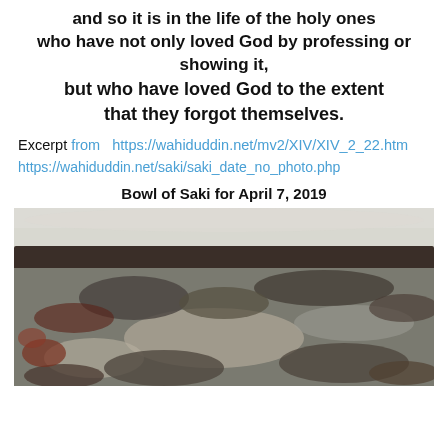and so it is in the life of the holy ones who have not only loved God by professing or showing it, but who have loved God to the extent that they forgot themselves.
Excerpt from  https://wahiduddin.net/mv2/XIV/XIV_2_22.htm
https://wahiduddin.net/saki/saki_date_no_photo.php
Bowl of Saki for April 7, 2019
[Figure (photo): Rocky coastal scene with dark rocks, patches of sand and snow, and muted natural tones in a landscape view.]